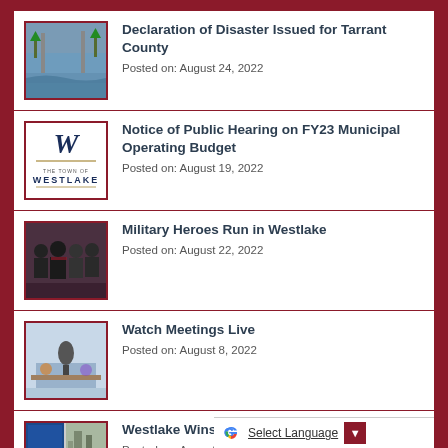Declaration of Disaster Issued for Tarrant County
Posted on: August 24, 2022
Notice of Public Hearing on FY23 Municipal Operating Budget
Posted on: August 19, 2022
Military Heroes Run in Westlake
Posted on: August 22, 2022
Watch Meetings Live
Posted on: August 8, 2022
Westlake Wins Major Award for Service
Posted on: August 18, 2022
Select Language